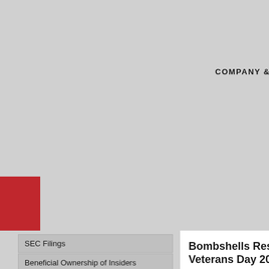COMPANY &
[Figure (other): Red rectangular block decorative element on left side]
SEC Filings
Beneficial Ownership of Insiders
Corporate Governance
Executive Biographies
Company Profile
Bombshells Restau Veterans Day 2017
HOUSTON – November 8, 2... Saturday to honor the...